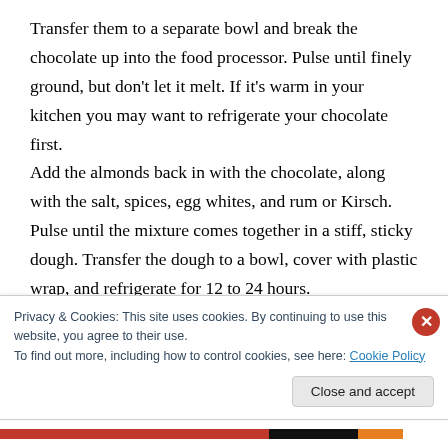Transfer them to a separate bowl and break the chocolate up into the food processor. Pulse until finely ground, but don't let it melt. If it's warm in your kitchen you may want to refrigerate your chocolate first. Add the almonds back in with the chocolate, along with the salt, spices, egg whites, and rum or Kirsch. Pulse until the mixture comes together in a stiff, sticky dough. Transfer the dough to a bowl, cover with plastic wrap, and refrigerate for 12 to 24 hours. Preheat your oven to 300F (150C), and line two sheet
Privacy & Cookies: This site uses cookies. By continuing to use this website, you agree to their use. To find out more, including how to control cookies, see here: Cookie Policy
Close and accept